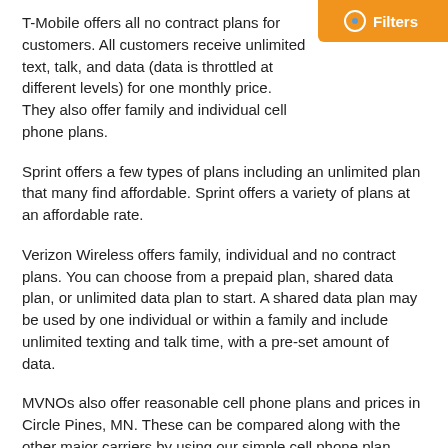T-Mobile offers all no contract plans for customers. All customers receive unlimited text, talk, and data (data is throttled at different levels) for one monthly price. They also offer family and individual cell phone plans.
Sprint offers a few types of plans including an unlimited plan that many find affordable. Sprint offers a variety of plans at an affordable rate.
Verizon Wireless offers family, individual and no contract plans. You can choose from a prepaid plan, shared data plan, or unlimited data plan to start. A shared data plan may be used by one individual or within a family and include unlimited texting and talk time, with a pre-set amount of data.
MVNOs also offer reasonable cell phone plans and prices in Circle Pines, MN. These can be compared along with the other major carriers by using our simple cell phone plan comparison tool right here on our page.